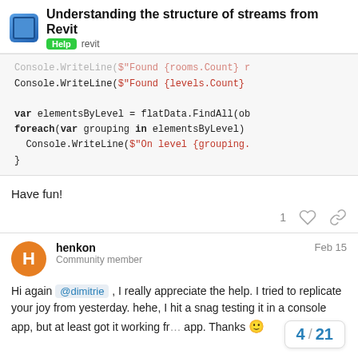Understanding the structure of streams from Revit — Help revit
[Figure (screenshot): Code block showing C# code with Console.WriteLine for rooms and levels count, var elementsByLevel = flatData.FindAll(...), foreach(var grouping in elementsByLevel) { Console.WriteLine($"On level {grouping...} }]
Have fun!
1 [like] [link]
henkon — Community member — Feb 15
Hi again @dimitrie , I really appreciate the help. I tried to replicate your joy from yesterday. hehe, I hit a snag testing it in a console app, but at least got it working fr... app. Thanks 🙂
4 / 21